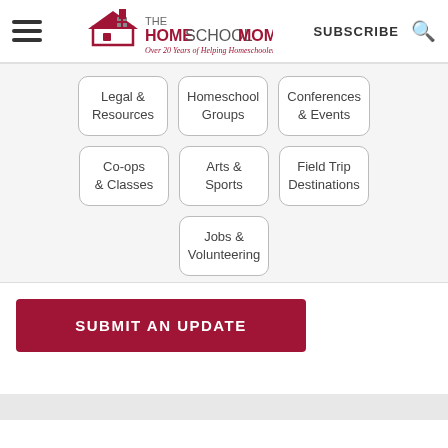TheHomeSchoolMom - Over 20 Years of Helping Homeschoolers!
Legal & Resources
Homeschool Groups
Conferences & Events
Co-ops & Classes
Arts & Sports
Field Trip Destinations
Jobs & Volunteering
SUBMIT AN UPDATE